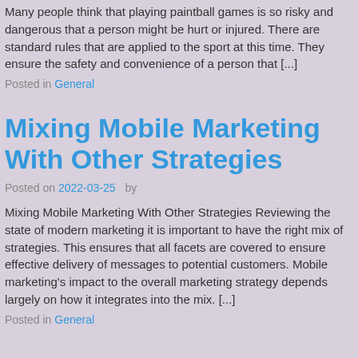Many people think that playing paintball games is so risky and dangerous that a person might be hurt or injured. There are standard rules that are applied to the sport at this time. They ensure the safety and convenience of a person that [...]
Posted in General
Mixing Mobile Marketing With Other Strategies
Posted on 2022-03-25  by
Mixing Mobile Marketing With Other Strategies Reviewing the state of modern marketing it is important to have the right mix of strategies. This ensures that all facets are covered to ensure effective delivery of messages to potential customers. Mobile marketing's impact to the overall marketing strategy depends largely on how it integrates into the mix. [...]
Posted in General